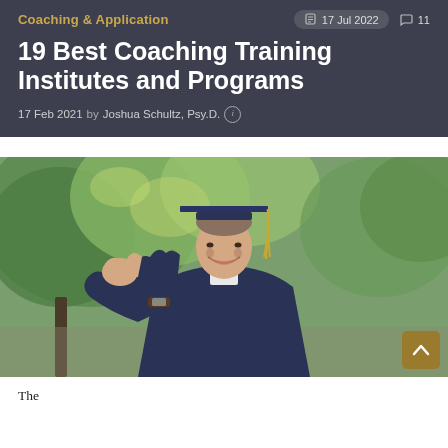Coaching & Application
17 Jul 2022   11
19 Best Coaching Training Institutes and Programs
17 Feb 2021 by Joshua Schultz, Psy.D.
[Figure (photo): A smiling young man in a navy blue graduation gown and mortarboard cap with a yellow tassel, giving a thumbs up gesture, standing outdoors in front of green trees.]
There are some text here...